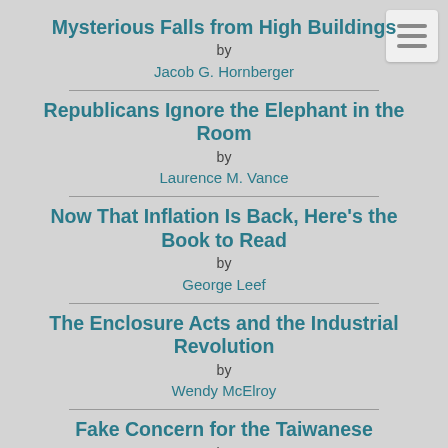Mysterious Falls from High Buildings by Jacob G. Hornberger
Republicans Ignore the Elephant in the Room by Laurence M. Vance
Now That Inflation Is Back, Here's the Book to Read by George Leef
The Enclosure Acts and the Industrial Revolution by Wendy McElroy
Fake Concern for the Taiwanese by